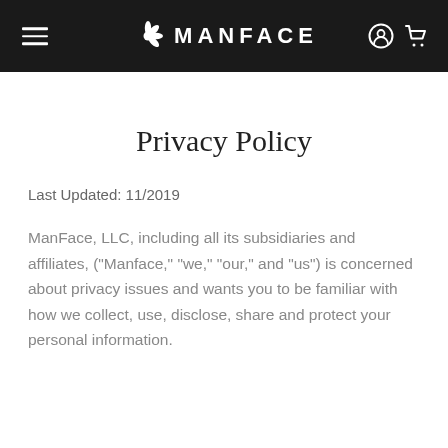MANFACE
Privacy Policy
Last Updated: 11/2019
ManFace, LLC, including all its subsidiaries and affiliates, ("Manface," "we," "our," and "us") is concerned about privacy issues and wants you to be familiar with how we collect, use, disclose, share and protect your personal information.